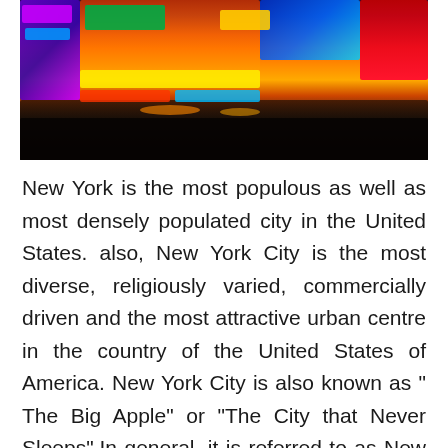[Figure (photo): Aerial/street-level view of Times Square, New York City, at dusk/night with colorful LED billboards, crowds of people, and yellow taxis. The sky shows an orange and purple twilight.]
New York is the most populous as well as most densely populated city in the United States. also, New York City is the most diverse, religiously varied, commercially driven and the most attractive urban centre in the country of the United States of America. New York City is also known as " The Big Apple" or "The City that Never Sleeps".In general, it is referred to as New York City(NYC) or only as New York(NY).In the year 2018, it was estimated that the population if New York is about 8,398,748. The land area of New York City is approximately 302.6 square miles. Its urban area extends into adjoining parts of New York, New Jersey and Connecticut. This city comprises five boroughs sitting where the river Hudson meets the Atlantic Ocean. Those five